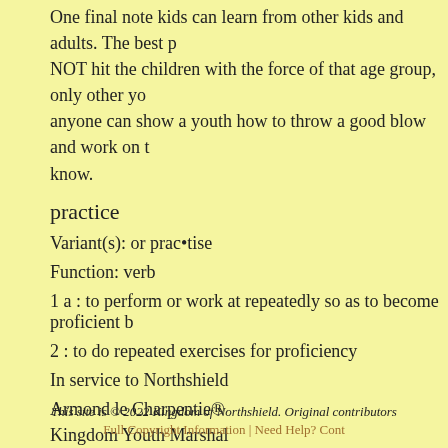One final note kids can learn from other kids and adults. The best p... NOT hit the children with the force of that age group, only other yo... anyone can show a youth how to throw a good blow and work on t... know.
practice
Variant(s): or prac•tise
Function: verb
1 a : to perform or work at repeatedly so as to become proficient b...
2 : to do repeated exercises for proficiency
In service to Northshield
Armond le Charpentie®
Kingdom Youth Marshal
Other missives from the Kingdom Youth Armored Combat Marshal
Posted by: Adeliz de la Tour Kingdom Youth Armored Combat Ma...
This site is © 2022 Kingdom of Northshield. Original contributors... | Full Copyright Information | Need Help? Cont...